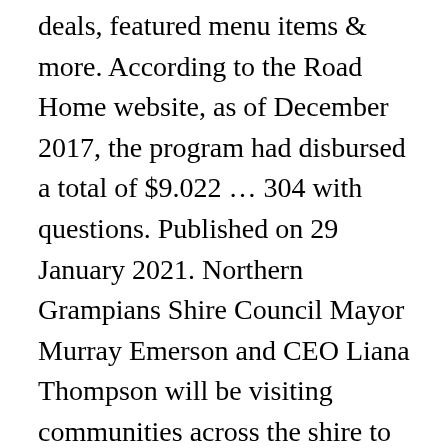deals, featured menu items & more. According to the Road Home website, as of December 2017, the program had disbursed a total of $9.022 … 304 with questions. Published on 29 January 2021. Northern Grampians Shire Council Mayor Murray Emerson and CEO Liana Thompson will be visiting communities across the shire to understand residents' priorities for the next 20 years. Chevrolet Dealership. Donation Hotline: 801-819-7300. "Housing First", or rapid re-housing, has been recognized as a dramatic new response to the problem of family … Thank you for your support! Planning, building and development. Any person who is liable to secure Certificate of Completion from the Commission shall have the right to donate